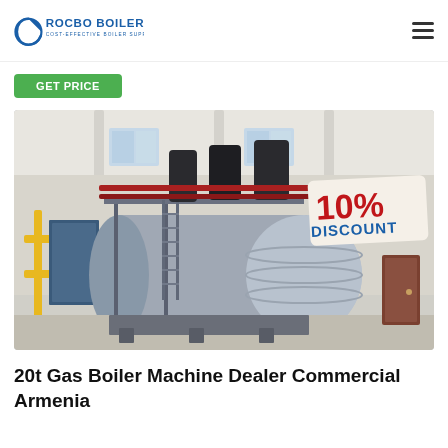ROCBO BOILER — COST-EFFECTIVE BOILER SUPPLIER
Get Price
[Figure (photo): Industrial gas boiler installed in a facility building with yellow pipes, blue steel frame support, large cylindrical body, black exhaust pipes on top, and a 10% DISCOUNT badge overlay in the top-right corner.]
20t Gas Boiler Machine Dealer Commercial Armenia